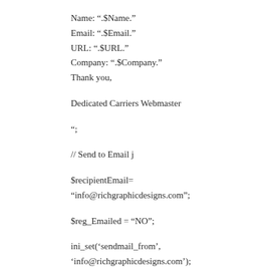Name: ".$Name."
Email: ".$Email."
URL: ".$URL."
Company: ".$Company."
Thank you,
Dedicated Carriers Webmaster
";
// Send to Email j
$recipientEmail=
"info@richgraphicdesigns.com";
$reg_Emailed = "NO";
ini_set('sendmail_from',
'info@richgraphicdesigns.com');